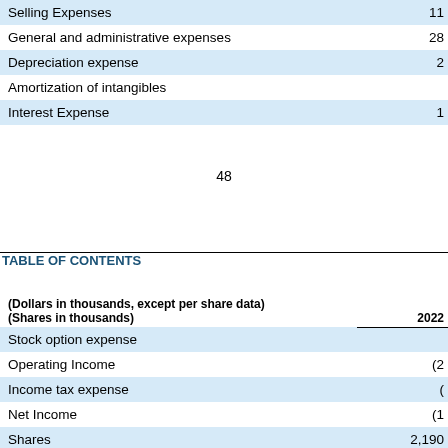|  |  |
| --- | --- |
| Selling Expenses | 11 |
| General and administrative expenses | 28 |
| Depreciation expense | 2 |
| Amortization of intangibles |  |
| Interest Expense | 1 |
48
TABLE OF CONTENTS
| (Dollars in thousands, except per share data)
(Shares in thousands) | 2022 |
| --- | --- |
| Stock option expense |  |
| Operating Income | (2 |
| Income tax expense | ( |
| Net Income | (1 |
| Shares | 2,190 |
| Earnings per share | $ ( |
| EBITDA(1) | 2 |
| Adjusted EBITDA(2) | 5 |
| Cash flow from operations | 3 |